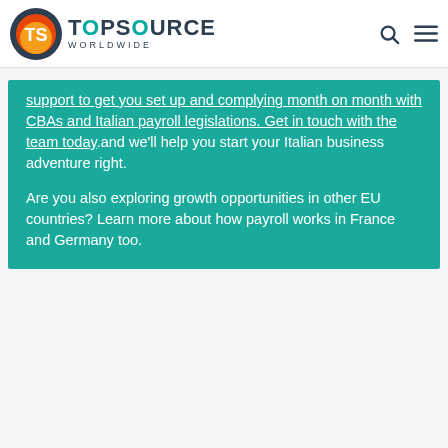TopSource Worldwide
support to get you set up and complying month on month with CBAs and Italian payroll legislations. Get in touch with the team today.and we'll help you start your Italian business adventure right.

Are you also exploring growth opportunities in other EU countries? Learn more about how payroll works in France and Germany too.